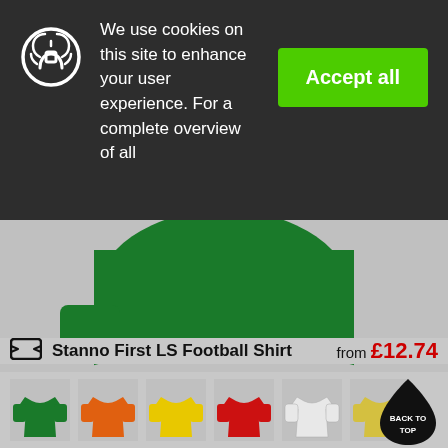[Figure (screenshot): Cookie consent banner with lock/recycle icon on dark background, Accept all button in green, text about cookies and user experience]
We use cookies on this site to enhance your user experience. For a complete overview of all
Accept all
[Figure (photo): Bottom portion of a green long-sleeve football shirt on grey background]
Stanno First LS Football Shirt  from £12.74
[Figure (photo): Six color swatches of football shirts: green, orange, yellow, red, white/light grey, yellow-gold]
BACK TO TOP